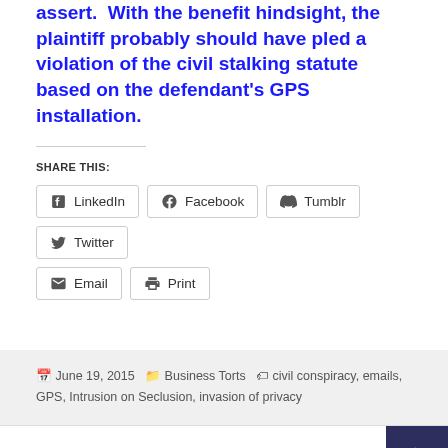assert. With the benefit hindsight, the plaintiff probably should have pled a violation of the civil stalking statute based on the defendant's GPS installation.
SHARE THIS:
LinkedIn, Facebook, Tumblr, Twitter, Email, Print (social share buttons)
June 19, 2015  Business Torts  civil conspiracy, emails, GPS, Intrusion on Seclusion, invasion of privacy
1  →  Proudly powered by WordPress